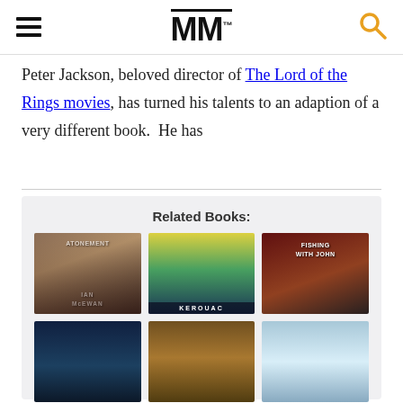[Figure (logo): MM logo with hamburger menu on left and search icon on right]
Peter Jackson, beloved director of The Lord of the Rings movies, has turned his talents to an adaption of a very different book.  He has
Related Books:
[Figure (photo): Grid of 6 book covers: Atonement by Ian McEwan, Big Sur by Kerouac, Fishing with John, and 3 more books in bottom row]